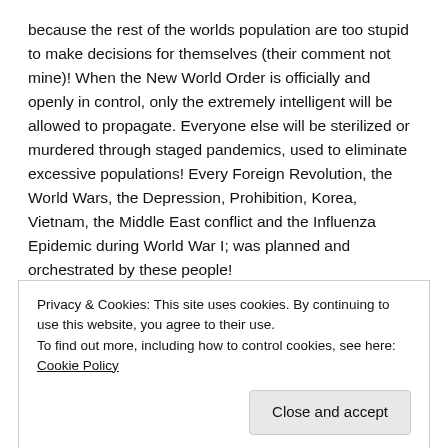because the rest of the worlds population are too stupid to make decisions for themselves (their comment not mine)! When the New World Order is officially and openly in control, only the extremely intelligent will be allowed to propagate. Everyone else will be sterilized or murdered through staged pandemics, used to eliminate excessive populations! Every Foreign Revolution, the World Wars, the Depression, Prohibition, Korea, Vietnam, the Middle East conflict and the Influenza Epidemic during World War I; was planned and orchestrated by these people!
Many early writers researched much of this history and were forced to fund their own publication and the distribution of their work. Most never received the acclaim they deserved, and never
Privacy & Cookies: This site uses cookies. By continuing to use this website, you agree to their use.
To find out more, including how to control cookies, see here: Cookie Policy
documents, the oppositions lawyer, responds to their clients